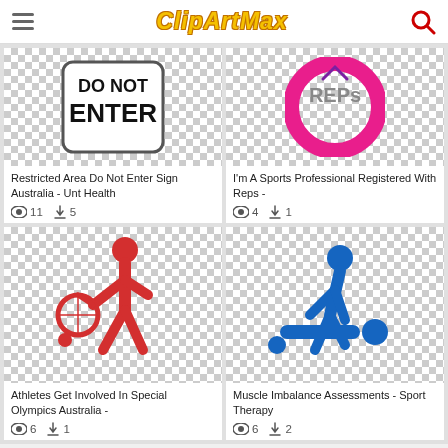ClipArtMax
[Figure (illustration): Do Not Enter sign Australia - black text on white sign with rounded rectangle border]
Restricted Area Do Not Enter Sign Australia - Unt Health
Views: 11  Downloads: 5
[Figure (illustration): I'm A Sports Professional Registered With Reps - circular pink badge with REPs text]
I'm A Sports Professional Registered With Reps -
Views: 4  Downloads: 1
[Figure (illustration): Red stick figure athlete playing tennis - Athletes Get Involved In Special Olympics Australia]
Athletes Get Involved In Special Olympics Australia -
Views: 6  Downloads: 1
[Figure (illustration): Blue stick figures showing muscle imbalance assessment / sport therapy massage]
Muscle Imbalance Assessments - Sport Therapy
Views: 6  Downloads: 2